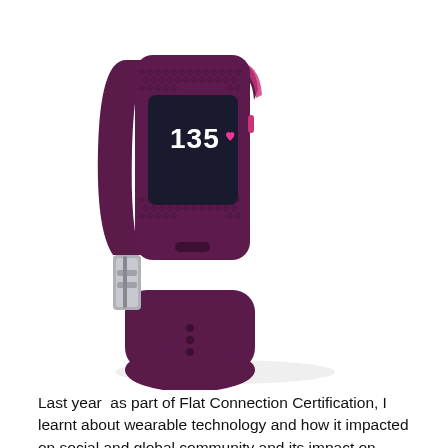[Figure (photo): A purple/plum colored Fitbit Charge HR fitness tracker wristband displayed against a white background. The device shows '135' and a heart icon on its display. The band has a textured diamond pattern and a silver buckle clasp.]
Last year  as part of Flat Connection Certification, I learnt about wearable technology and how it impacted on social and global community and its impact on education at all levels.
My initial understanding at that time was that wearable technology was about augmented wearable headsets that are worn as part of gaming to enact a make believe scenario or those google glasses that were making a big noise on social media. I wonder what happened to those